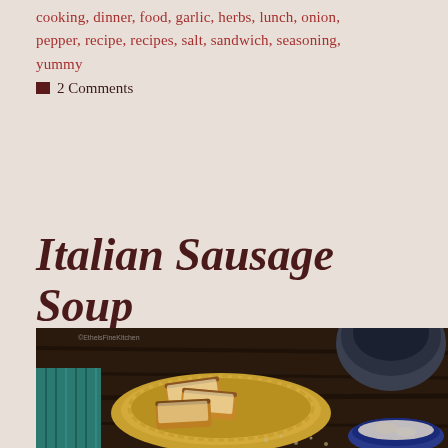cooking, dinner, food, garlic, herbs, lunch, onion, pepper, recipe, recipes, salt, sandwich, seasoning, yummy
2 Comments
Italian Sausage Soup
[Figure (photo): Dark moody food photograph showing bread slices with cheese on a decorative yellow plate, with a dark stone mortar and pestle in the upper right, a teal striped cloth on the left, and a blue bowl in the lower right, on a dark wood surface]